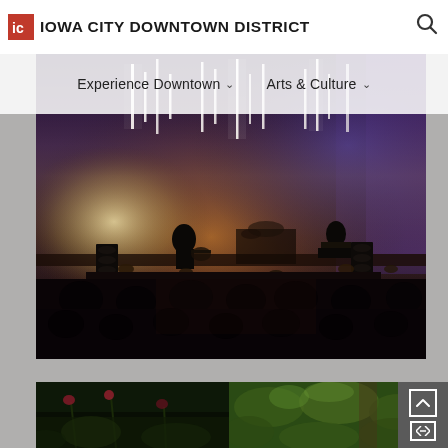Iowa City Downtown District
Experience Downtown  Arts & Culture
[Figure (photo): Concert performance on a dark stage with dramatic vertical LED light tubes hanging from the ceiling, atmospheric haze/fog, musicians silhouetted against bright stage lighting including warm amber and cool blue/purple tones. Audience visible in foreground.]
[Figure (photo): Partial bottom-left image: dark outdoor scene with flowers/plants visible.]
[Figure (photo): Partial bottom-right image: green foliage/garden scene.]